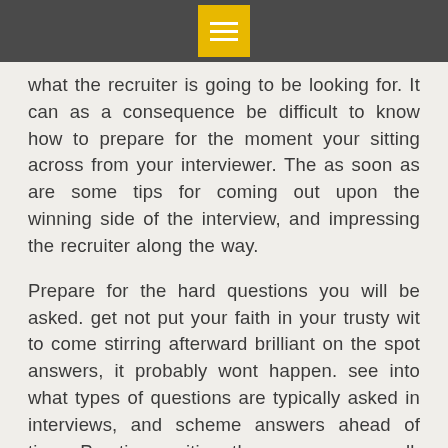what the recruiter is going to be looking for. It can as a consequence be difficult to know how to prepare for the moment your sitting across from your interviewer. The as soon as are some tips for coming out upon the winning side of the interview, and impressing the recruiter along the way.
Prepare for the hard questions you will be asked. get not put your faith in your trusty wit to come stirring afterward brilliant on the spot answers, it probably wont happen. see into what types of questions are typically asked in interviews, and scheme answers ahead of time. Practice reciting the answers as well, you will air more confident in imitation of them. make sure to have stories of your achievements that will operate the recruiter qualities their company